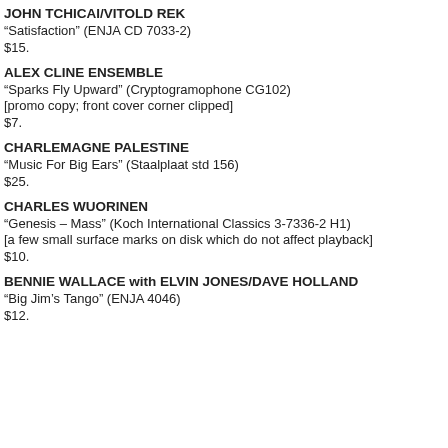JOHN TCHICAI/VITOLD REK
“Satisfaction” (ENJA CD 7033-2)
$15.
ALEX CLINE ENSEMBLE
“Sparks Fly Upward” (Cryptogramophone CG102)
[promo copy; front cover corner clipped]
$7.
CHARLEMAGNE PALESTINE
“Music For Big Ears” (Staalplaat std 156)
$25.
CHARLES WUORINEN
“Genesis – Mass” (Koch International Classics 3-7336-2 H1)
[a few small surface marks on disk which do not affect playback]
$10.
BENNIE WALLACE with ELVIN JONES/DAVE HOLLAND
“Big Jim’s Tango” (ENJA 4046)
$12.